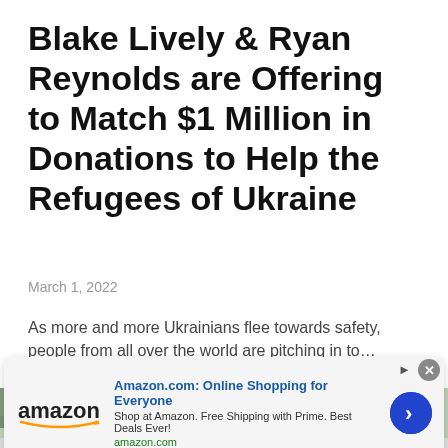Blake Lively & Ryan Reynolds are Offering to Match $1 Million in Donations to Help the Refugees of Ukraine
March 1, 2022
As more and more Ukrainians flee towards safety, people from all over the world are pitching in to…
[Figure (photo): Partial view of outdoor scene with trees and structures, partially obscured by advertisement banner]
Amazon.com: Online Shopping for Everyone
Shop at Amazon. Free Shipping with Prime. Best Deals Ever!
amazon.com